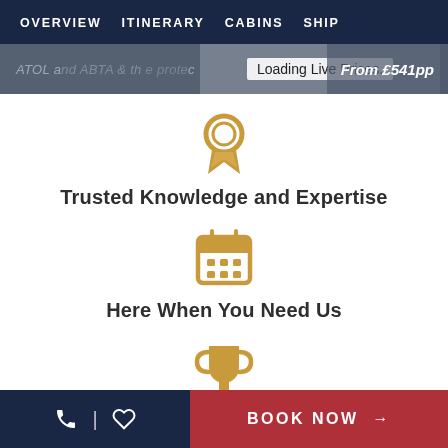OVERVIEW  ITINERARY  CABINS  SHIP
ATOL and ABTA & th e protected   Loading Live Prices.   From £541pp
[Figure (illustration): Gold award/ribbon icon]
Trusted Knowledge and Expertise
[Figure (illustration): Gold calendar icon]
Here When You Need Us
[Figure (illustration): Gold trophy icon]
UK's No.1 Independent Cruise Specialist
BOOK NOW →